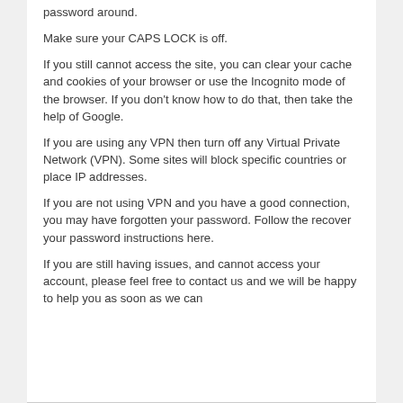password around.
Make sure your CAPS LOCK is off.
If you still cannot access the site, you can clear your cache and cookies of your browser or use the Incognito mode of the browser. If you don't know how to do that, then take the help of Google.
If you are using any VPN then turn off any Virtual Private Network (VPN). Some sites will block specific countries or place IP addresses.
If you are not using VPN and you have a good connection, you may have forgotten your password. Follow the recover your password instructions here.
If you are still having issues, and cannot access your account, please feel free to contact us and we will be happy to help you as soon as we can